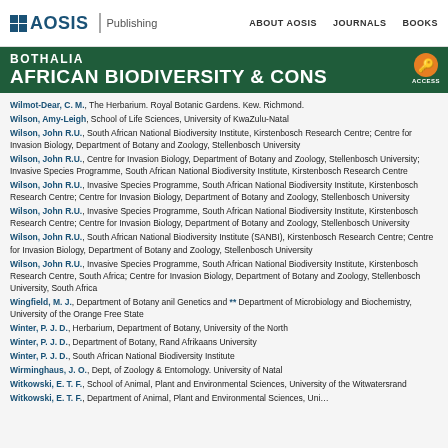AOSIS Publishing | ABOUT AOSIS | JOURNALS | BOOKS
BOTHALIA AFRICAN BIODIVERSITY & CONS
Wilmot-Dear, C. M., The Herbarium. Royal Botanic Gardens. Kew. Richmond.
Wilson, Amy-Leigh, School of Life Sciences, University of KwaZulu-Natal
Wilson, John R.U., South African National Biodiversity Institute, Kirstenbosch Research Centre; Centre for Invasion Biology, Department of Botany and Zoology, Stellenbosch University
Wilson, John R.U., Centre for Invasion Biology, Department of Botany and Zoology, Stellenbosch University; Invasive Species Programme, South African National Biodiversity Institute, Kirstenbosch Research Centre
Wilson, John R.U., Invasive Species Programme, South African National Biodiversity Institute, Kirstenbosch Research Centre; Centre for Invasion Biology, Department of Botany and Zoology, Stellenbosch University
Wilson, John R.U., Invasive Species Programme, South African National Biodiversity Institute, Kirstenbosch Research Centre; Centre for Invasion Biology, Department of Botany and Zoology, Stellenbosch University
Wilson, John R.U., South African National Biodiversity Institute (SANBI), Kirstenbosch Research Centre; Centre for Invasion Biology, Department of Botany and Zoology, Stellenbosch University
Wilson, John R.U., Invasive Species Programme, South African National Biodiversity Institute, Kirstenbosch Research Centre, South Africa; Centre for Invasion Biology, Department of Botany and Zoology, Stellenbosch University, South Africa
Wingfield, M. J., Department of Botany anil Genetics and ** Department of Microbiology and Biochemistry, University of the Orange Free State
Winter, P. J. D., Herbarium, Department of Botany, University of the North
Winter, P. J. D., Department of Botany, Rand Afrikaans University
Winter, P. J. D., South African National Biodiversity Institute
Wirminghaus, J. O., Dept, of Zoology & Entomology. University of Natal
Witkowski, E. T. F., School of Animal, Plant and Environmental Sciences, University of the Witwatersrand
Witkowski, E. T. F., Department of Animal, Plant and Environmental Sciences, Uni…